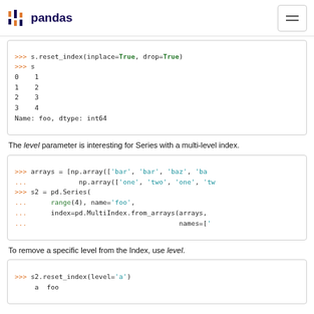pandas
[Figure (screenshot): Code block showing s.reset_index(inplace=True, drop=True) and output with values 0:1, 1:2, 2:3, 3:4 Name: foo, dtype: int64]
The level parameter is interesting for Series with a multi-level index.
[Figure (screenshot): Code block showing arrays = [np.array(['bar','bar','baz','ba... and np.array(['one','two','one','tw... and s2 = pd.Series( range(4), name='foo', index=pd.MultiIndex.from_arrays(arrays, names=['...]
To remove a specific level from the Index, use level.
[Figure (screenshot): Code block showing s2.reset_index(level='a') with output header: a  foo]